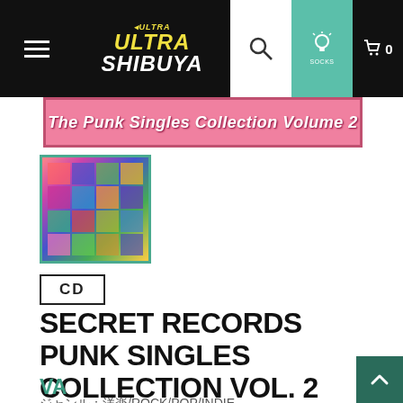ULTRA SHIBUYA
[Figure (photo): Pink banner with text: The Punk Singles Collection Volume 2]
[Figure (photo): Thumbnail cover art for Secret Records Punk Singles Collection Vol. 2 showing a collage of band photos on a pink/colorful background]
CD
SECRET RECORDS PUNK SINGLES COLLECTION VOL. 2
VA
ジャンル：洋楽/ROCK/POP/INDIE